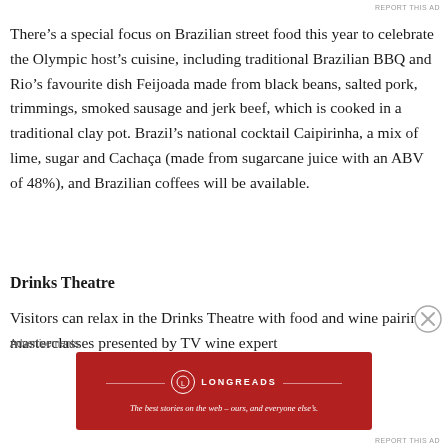REPORT THIS AD
There’s a special focus on Brazilian street food this year to celebrate the Olympic host’s cuisine, including traditional Brazilian BBQ and Rio’s favourite dish Feijoada made from black beans, salted pork, trimmings, smoked sausage and jerk beef, which is cooked in a traditional clay pot. Brazil’s national cocktail Caipirinha, a mix of lime, sugar and Cachaça (made from sugarcane juice with an ABV of 48%), and Brazilian coffees will be available.
Drinks Theatre
Visitors can relax in the Drinks Theatre with food and wine pairing masterclasses presented by TV wine expert
Advertisements
[Figure (other): Longreads advertisement banner in dark red with logo and tagline: The best stories on the web – ours, and everyone else’s.]
REPORT THIS AD